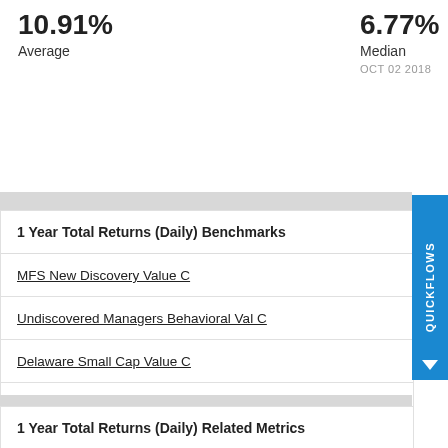10.91% Average
6.77% Median OCT 02 2018
1 Year Total Returns (Daily) Benchmarks
MFS New Discovery Value C
Undiscovered Managers Behavioral Val C
Delaware Small Cap Value C
AB Small Cap Value C
Franklin Small Cap Value C
1 Year Total Returns (Daily) Related Metrics